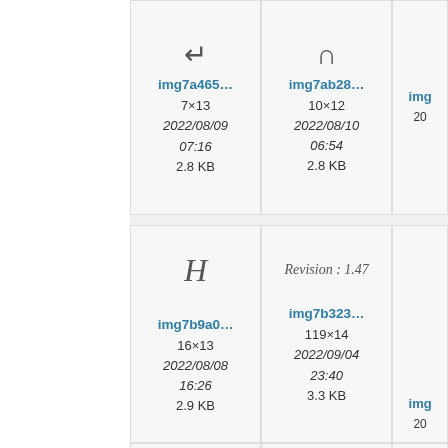[Figure (screenshot): File browser grid view showing image thumbnails with symbols (hook, intersection). First row shows img7a465... (7×13, 2022/08/09 07:16, 2.8 KB) and img7ab28... (10×12, 2022/08/10 06:54, 2.8 KB) and partial third cell. Second row shows H symbol cell and Revision: 1.47 cell and partial third cell. Third row shows img7b9a0... (16×13, 2022/08/08 16:26, 2.9 KB) and img7b323... (119×14, 2022/09/04 23:40, 3.3 KB) and partial third cell. Fourth row partially visible.]